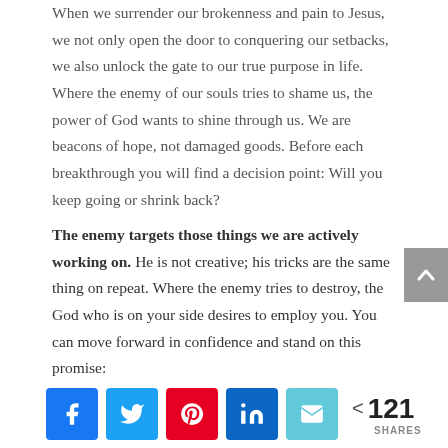When we surrender our brokenness and pain to Jesus, we not only open the door to conquering our setbacks, we also unlock the gate to our true purpose in life. Where the enemy of our souls tries to shame us, the power of God wants to shine through us. We are beacons of hope, not damaged goods. Before each breakthrough you will find a decision point: Will you keep going or shrink back?
The enemy targets those things we are actively working on. He is not creative; his tricks are the same thing on repeat. Where the enemy tries to destroy, the God who is on your side desires to employ you. You can move forward in confidence and stand on this promise: